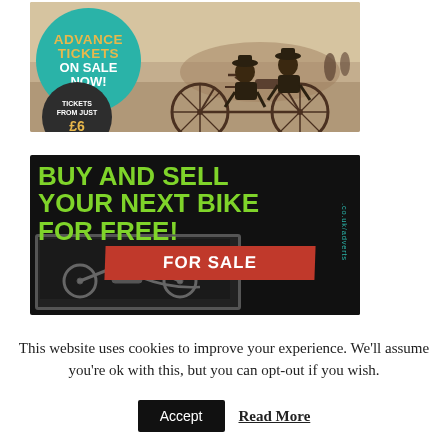[Figure (illustration): Advertisement banner for advance tickets with teal circle showing 'ADVANCE TICKETS ON SALE NOW!' and a smaller dark circle showing 'TICKETS FROM JUST £6', overlaid on a vintage sepia photograph of two men riding an early automobile/quadricycle on a road]
[Figure (illustration): Advertisement banner on black background with large green bold text 'BUY AND SELL YOUR NEXT BIKE FOR FREE!' and a red banner reading 'FOR SALE', with vertical teal text '.co.uk/adverts' on the right side and a photograph of a motorcycle at the bottom]
This website uses cookies to improve your experience. We'll assume you're ok with this, but you can opt-out if you wish.
Accept   Read More